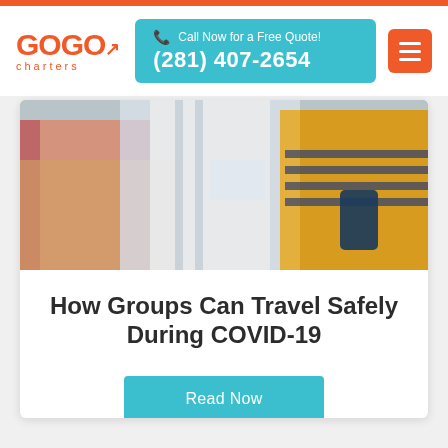[Figure (logo): GOGO Charters logo in red/orange with arrow]
Call Now for a Free Quote! (281) 407-2654
[Figure (photo): People standing at what appears to be an airport or transit area, holding phones]
How Groups Can Travel Safely During COVID-19
Read Now
07/23/2020